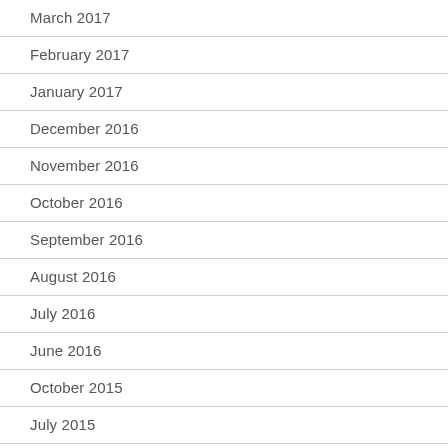March 2017
February 2017
January 2017
December 2016
November 2016
October 2016
September 2016
August 2016
July 2016
June 2016
October 2015
July 2015